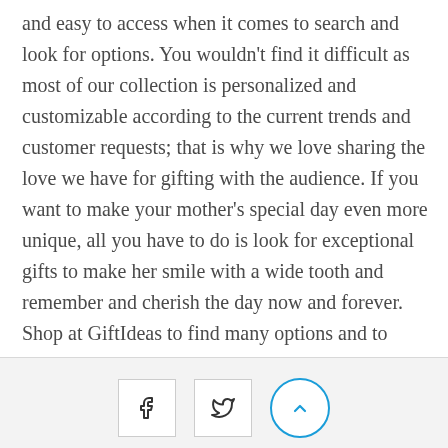and easy to access when it comes to search and look for options. You wouldn't find it difficult as most of our collection is personalized and customizable according to the current trends and customer requests; that is why we love sharing the love we have for gifting with the audience. If you want to make your mother's special day even more unique, all you have to do is look for exceptional gifts to make her smile with a wide tooth and remember and cherish the day now and forever. Shop at GiftIdeas to find many options and to avail many discounts that are present.
social share icons and scroll-to-top button